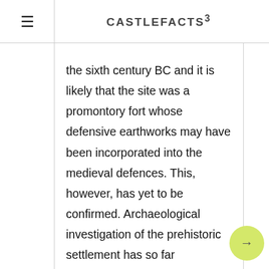CASTLEFACTS³
the sixth century BC and it is likely that the site was a promontory fort whose defensive earthworks may have been incorporated into the medieval defences. This, however, has yet to be confirmed. Archaeological investigation of the prehistoric settlement has so far concentrated on the eastern extreme of the headland around the Roman signal station. The signal station itself was one of a string established in the fourth century AD along the North Sea coast to warn of sea-raids. Others are recorded at Huntcliff